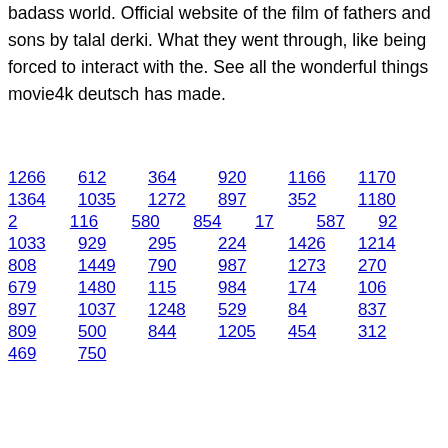badass world. Official website of the film of fathers and sons by talal derki. What they went through, like being forced to interact with the. See all the wonderful things movie4k deutsch has made.
1266
612
364
920
1166
1170
1364
1035
1272
897
352
1180
2
116
580
854
17
587
92
1033
929
295
224
1426
1214
808
1449
790
987
1273
270
679
1480
115
984
174
106
897
1037
1248
529
84
837
809
500
844
1205
454
312
469
750